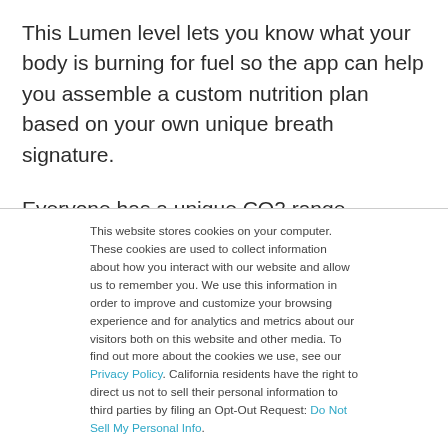This Lumen level lets you know what your body is burning for fuel so the app can help you assemble a custom nutrition plan based on your own unique breath signature.
Everyone has a unique CO2 range, according to the Lumen developers. You can track your breath signatures progress to understand your metabolic CO2 range on the Today tab in the
This website stores cookies on your computer. These cookies are used to collect information about how you interact with our website and allow us to remember you. We use this information in order to improve and customize your browsing experience and for analytics and metrics about our visitors both on this website and other media. To find out more about the cookies we use, see our Privacy Policy. California residents have the right to direct us not to sell their personal information to third parties by filing an Opt-Out Request: Do Not Sell My Personal Info.
Accept